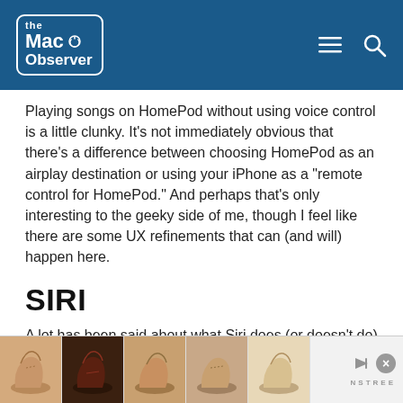The Mac Observer
Playing songs on HomePod without using voice control is a little clunky. It’s not immediately obvious that there’s a difference between choosing HomePod as an airplay destination or using your iPhone as a “remote control for HomePod.” And perhaps that’s only interesting to the geeky side of me, though I feel like there are some UX refinements that can (and will) happen here.
SIRI
A lot has been said about what Siri does (or doesn’t do) with HomePod. I found no frustration with Siri, but I was prepped by the fact that I had read most of the Apple PR-machine fueled pre-release coverage. Their message was expertly controlled by Siri in H... ...ed by ...t and
[Figure (advertisement): Shoe advertisement banner with five shoe images and NSTREE branding, play and close controls]